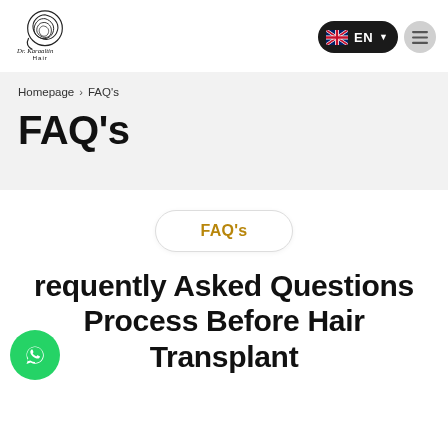[Figure (logo): Dr. Karaaltin Hair clinic logo — stylized zebra/tiger pattern with cursive text 'Dr. Karaaltin Hair']
EN
Homepage › FAQ's
FAQ's
FAQ's
Frequently Asked Questions Process Before Hair Transplant